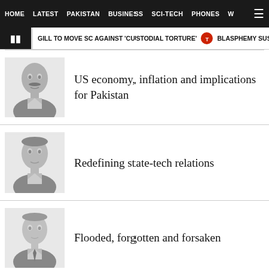HOME   LATEST   PAKISTAN   BUSINESS   SCI-TECH   PHONES   W
GILL TO MOVE SC AGAINST 'CUSTODIAL TORTURE'   BLASPHEMY SUSPECT GETS
[Figure (photo): Grayscale headshot portrait of a man with mustache]
US economy, inflation and implications for Pakistan
[Figure (photo): Grayscale headshot portrait of a man in suit]
Redefining state-tech relations
[Figure (photo): Grayscale headshot portrait of a young man in suit]
Flooded, forgotten and forsaken